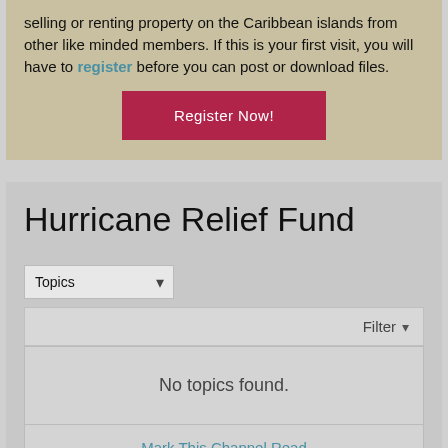selling or renting property on the Caribbean islands from other like minded members. If this is your first visit, you will have to register before you can post or download files.
Register Now!
Hurricane Relief Fund
Topics
Filter
No topics found.
Mark This Channel Read